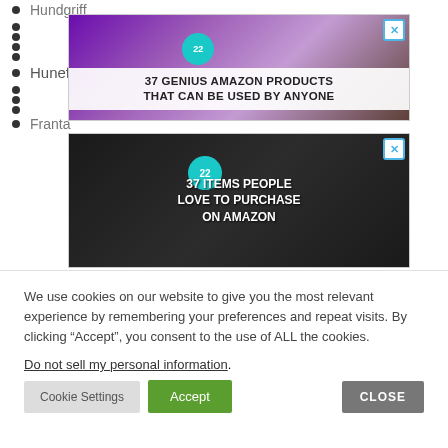Hundgriff
[Figure (other): Advertisement banner: '37 GENIUS AMAZON PRODUCTS THAT CAN BE USED BY ANYONE' with purple headphones and a badge showing 22]
Hunef (2)
[Figure (other): Advertisement banner: '37 ITEMS PEOPLE LOVE TO PURCHASE ON AMAZON' with dark background showing knives and food items, badge showing 22]
Franta
We use cookies on our website to give you the most relevant experience by remembering your preferences and repeat visits. By clicking “Accept”, you consent to the use of ALL the cookies.
Do not sell my personal information.